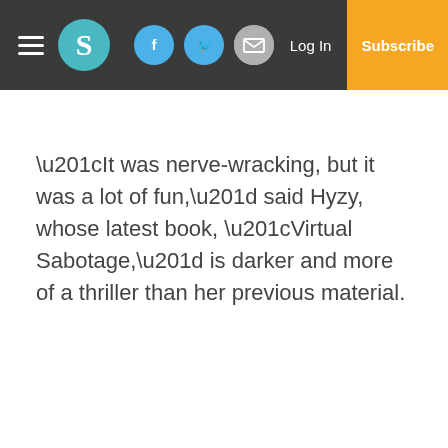S [logo] | Facebook | Twitter | Email | Log In | Subscribe
“It was nerve-wracking, but it was a lot of fun,” said Hyzy, whose latest book, “Virtual Sabotage,” is darker and more of a thriller than her previous material.